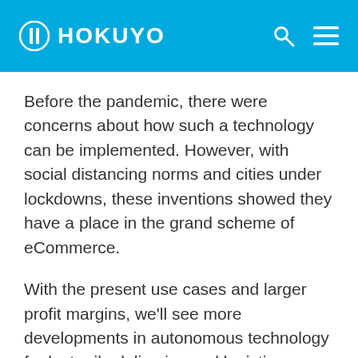HOKUYO
Before the pandemic, there were concerns about how such a technology can be implemented. However, with social distancing norms and cities under lockdowns, these inventions showed they have a place in the grand scheme of eCommerce.
With the present use cases and larger profit margins, we'll see more developments in autonomous technology for last-mile deliveries and logistics through autonomous delivery trucks. As